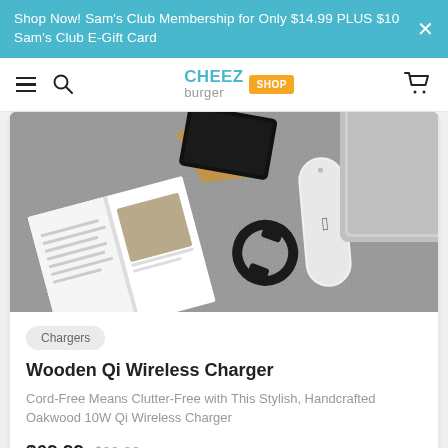Shop Now! Sam's Club Membership for Only $14.99 PLUS $10 Sam's Club E-Gift Card
Cheezburger SHOP
[Figure (photo): Flatlay photo on grey surface showing an open book/magazine, a black smartwatch band, a white Apple TV remote, a wooden stand with a dark tablet, and a silver laptop corner]
Chargers
Wooden Qi Wireless Charger
Cord-Free Means Clutter-Free with This Stylish, Handcrafted Oakwood 10W Qi Wireless Charger
$69.99  $99.00